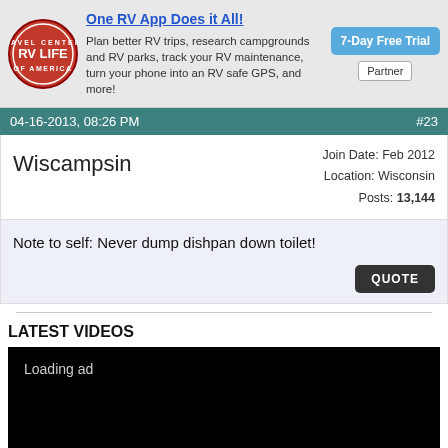[Figure (logo): RV Life logo - circular red badge with RV Life text]
One RV App Does it All!
Plan better RV trips, research campgrounds and RV parks, track your RV maintenance, turn your phone into an RV safe GPS, and more!
7-Day Free Trial
Partner
04-16-2013, 08:26 PM   #23
Wiscampsin
Join Date: Feb 2012
Location: Wisconsin
Posts: 13,144
Note to self: Never dump dishpan down toilet!
QUOTE
LATEST VIDEOS
[Figure (screenshot): Black video player area with 'Loading ad' text and loading spinner]